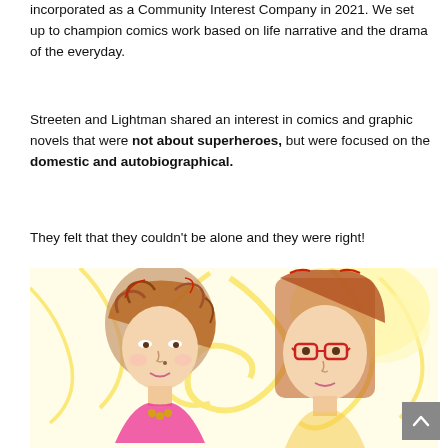incorporated as a Community Interest Company in 2021. We set up to champion comics work based on life narrative and the drama of the everyday.
Streeten and Lightman shared an interest in comics and graphic novels that were not about superheroes, but were focused on the domestic and autobiographical.
They felt that they couldn't be alone and they were right!
[Figure (illustration): Coloured pencil illustration of two women. On the left, a woman with curly reddish-brown hair wearing a pink/magenta top with a necklace. On the right, a woman with straight reddish-brown hair wearing glasses and a light top. Both are set against a yellow swirling background.]